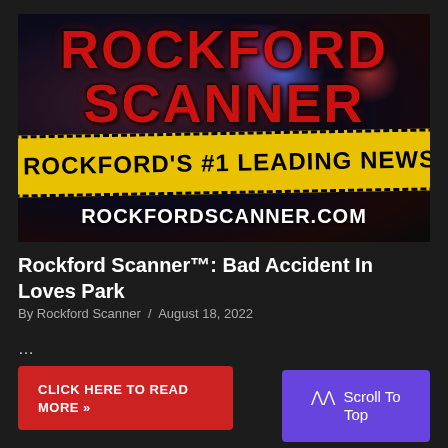[Figure (logo): Rockford Scanner logo banner with police lights background, yellow caution tape reading 'ROCKFORD'S #1 LEADING NEWS', and website URL ROCKFORDSCANNER.COM]
Rockford Scanner™: Bad Accident In Loves Park
By Rockford Scanner / August 18, 2022
…
CLICK HERE TO READ MORE »
Scroll To Top